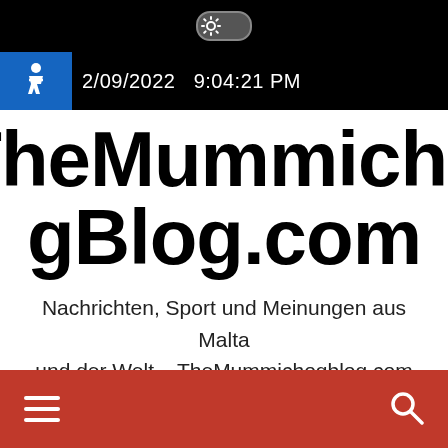[Figure (screenshot): Toggle switch control in top black bar]
2/09/2022  9:04:21 PM
[Figure (logo): Blue accessibility (wheelchair) icon]
TheMummichogBlog.com
Nachrichten, Sport und Meinungen aus Malta und der Welt – TheMummichogblog.com
[Figure (infographic): Red navigation bar with hamburger menu icon on the left and search icon on the right]